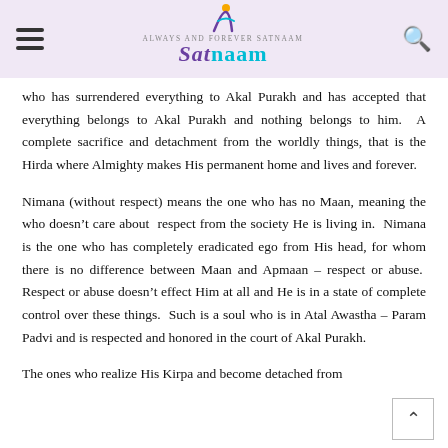ALWAYS AND FOREVER SATNAAM — SATNAAM
who has surrendered everything to Akal Purakh and has accepted that everything belongs to Akal Purakh and nothing belongs to him. A complete sacrifice and detachment from the worldly things, that is the Hirda where Almighty makes His permanent home and lives and forever.
Nimana (without respect) means the one who has no Maan, meaning the who doesn't care about respect from the society He is living in. Nimana is the one who has completely eradicated ego from His head, for whom there is no difference between Maan and Apmaan – respect or abuse. Respect or abuse doesn't effect Him at all and He is in a state of complete control over these things. Such is a soul who is in Atal Awastha – Param Padvi and is respected and honored in the court of Akal Purakh.
The ones who realize His Kirpa and become detached from